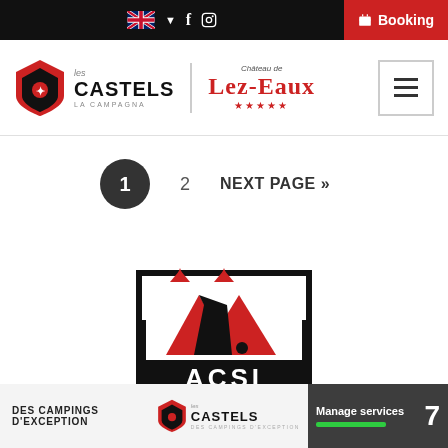Navigation bar with UK flag, language selector, Facebook, Instagram icons, and Booking button
[Figure (logo): Les Castels and Château de Lez-Eaux 5-star logos with hamburger menu icon]
1  2  NEXT PAGE »
[Figure (logo): ACSI logo — black square with two red triangles (tent shapes) and ACSI text]
DES CAMPINGS D'EXCEPTION | Les Castels logo | Manage services 7